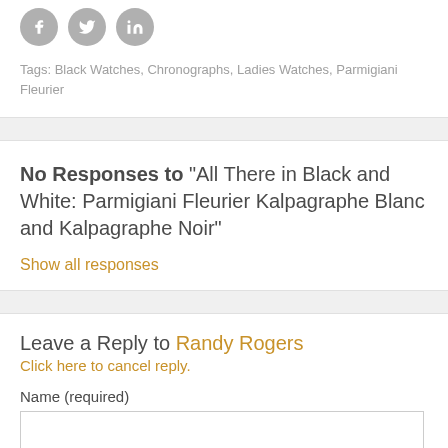[Figure (other): Three circular grey social media icons: Facebook (f), Twitter (bird), LinkedIn (in)]
Tags: Black Watches, Chronographs, Ladies Watches, Parmigiani Fleurier
No Responses to "All There in Black and White: Parmigiani Fleurier Kalpagraphe Blanc and Kalpagraphe Noir"
Show all responses
Leave a Reply to Randy Rogers
Click here to cancel reply.
Name (required)